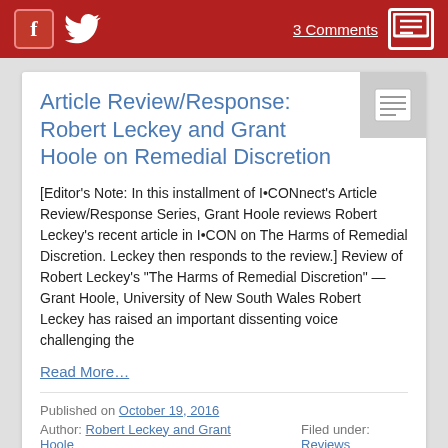3 Comments
Article Review/Response: Robert Leckey and Grant Hoole on Remedial Discretion
[Editor's Note: In this installment of I•CONnect's Article Review/Response Series, Grant Hoole reviews Robert Leckey's recent article in I•CON on The Harms of Remedial Discretion. Leckey then responds to the review.] Review of Robert Leckey's "The Harms of Remedial Discretion" — Grant Hoole, University of New South Wales Robert Leckey has raised an important dissenting voice challenging the
Read More…
Published on October 19, 2016
Author: Robert Leckey and Grant Hoole    Filed under: Reviews
Tags: Bills of Rights, Canada, Declaration of Invalidity, Notwithstanding Clause, …, South Africa…